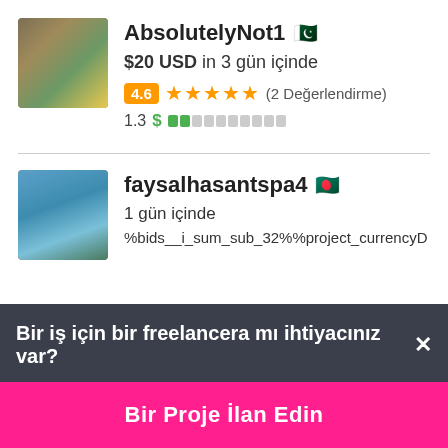[Figure (photo): Avatar image of AbsolutelyNot1, showing fruits/vegetables with green and yellow tones]
AbsolutelyNot1 🇵🇰
$20 USD in 3 gün içinde
4.6 ★★★★★ (2 Değerlendirme)
1.3 $ ■□□□□□□□□□
[Figure (photo): Avatar image of faysalhasantspa4, showing a man in a blue shirt outdoors]
faysalhasantspa4 🇧🇩
1 gün içinde
%bids__i_sum_sub_32%%project_currencyD
Bir iş için bir freelancera mı ihtiyacınız var? ×
Bir Proje İlan Edin